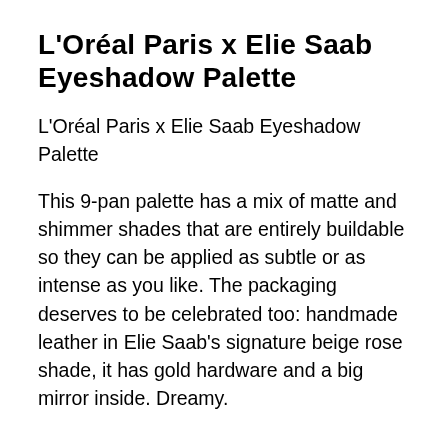L'Oréal Paris x Elie Saab Eyeshadow Palette
L'Oréal Paris x Elie Saab Eyeshadow Palette
This 9-pan palette has a mix of matte and shimmer shades that are entirely buildable so they can be applied as subtle or as intense as you like. The packaging deserves to be celebrated too: handmade leather in Elie Saab's signature beige rose shade, it has gold hardware and a big mirror inside. Dreamy.